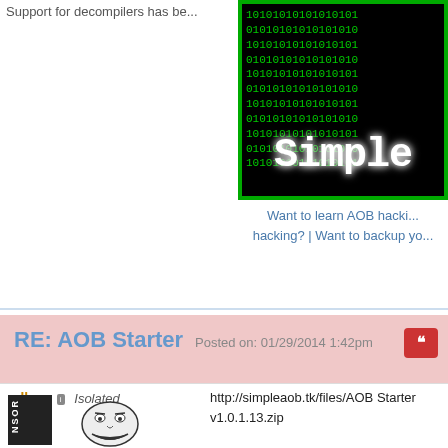Support for decompilers has be...
[Figure (illustration): Binary code image with green 1s and 0s on black background, with white text 'Simple' overlaid in large bold font]
Want to learn AOB hacking? | hacking? | Want to backup yo...
RE: AOB Starter Posted on: 01/29/2014 1:42pm
http://simpleaob.tk/files/AOB Starter v1.0.1.13.zip

Link isn't working?
adhan  Isolated
[Figure (illustration): Troll face meme image in black and white]